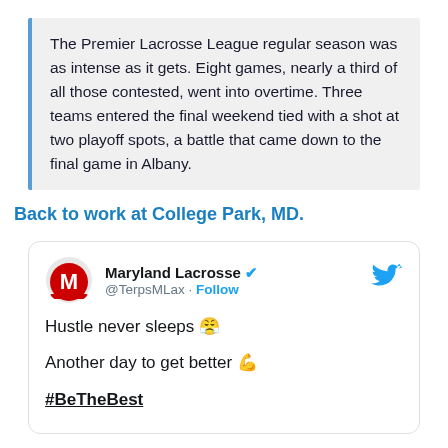The Premier Lacrosse League regular season was as intense as it gets. Eight games, nearly a third of all those contested, went into overtime. Three teams entered the final weekend tied with a shot at two playoff spots, a battle that came down to the final game in Albany.
Back to work at College Park, MD.
[Figure (screenshot): Embedded tweet from Maryland Lacrosse (@TerpsMLax) with verified checkmark, Twitter bird icon, text reading 'Hustle never sleeps 😤 Another day to get better 💪 #BeTheBest']